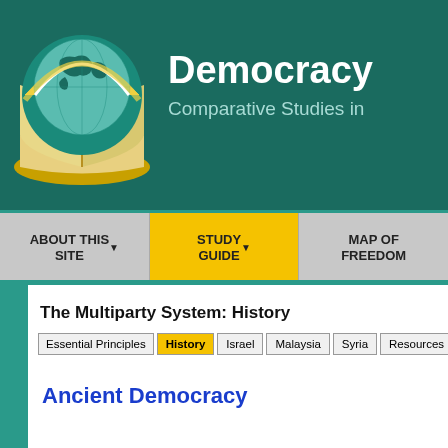[Figure (logo): Globe with book logo for Democracy comparative studies website]
Democracy | Comparative Studies in
ABOUT THIS SITE | STUDY GUIDE | MAP OF FREEDOM
The Multiparty System: History
Essential Principles | History | Israel | Malaysia | Syria | Resources | Str...
Ancient Democracy